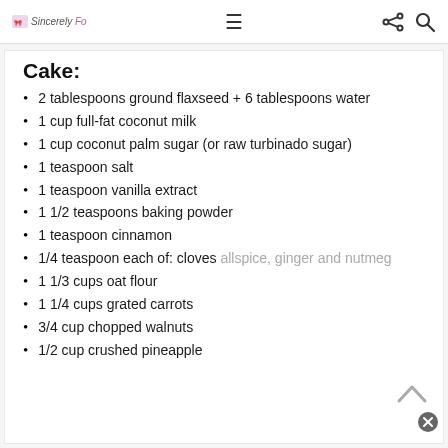Sincerely Fo [logo] — hamburger menu, share icon, search icon
Cake:
2 tablespoons ground flaxseed + 6 tablespoons water
1 cup full-fat coconut milk
1 cup coconut palm sugar (or raw turbinado sugar)
1 teaspoon salt
1 teaspoon vanilla extract
1 1/2 teaspoons baking powder
1 teaspoon cinnamon
1/4 teaspoon each of: cloves allspice, ginger and nutmeg
1 1/3 cups oat flour
1 1/4 cups grated carrots
3/4 cup chopped walnuts
1/2 cup crushed pineapple